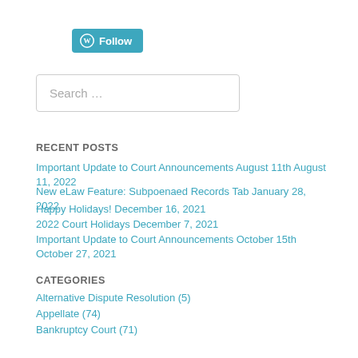[Figure (logo): WordPress Follow button with globe icon]
Search …
RECENT POSTS
Important Update to Court Announcements August 11th August 11, 2022
New eLaw Feature: Subpoenaed Records Tab January 28, 2022
Happy Holidays! December 16, 2021
2022 Court Holidays December 7, 2021
Important Update to Court Announcements October 15th October 27, 2021
CATEGORIES
Alternative Dispute Resolution (5)
Appellate (74)
Bankruptcy Court (71)